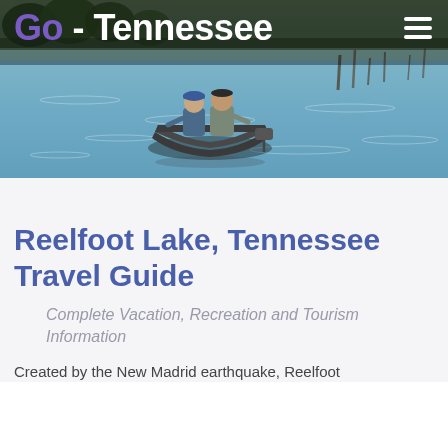[Figure (photo): Header banner showing two people fishing from a small aluminum boat on Reelfoot Lake, with tree-lined shores in the background. The Go-Tennessee logo appears in the top left with a hamburger menu icon in the top right.]
Reelfoot Lake, Tennessee Travel Guide
Complete Vacation, Recreation and Tourism Information
Created by the New Madrid earthquake, Reelfoot